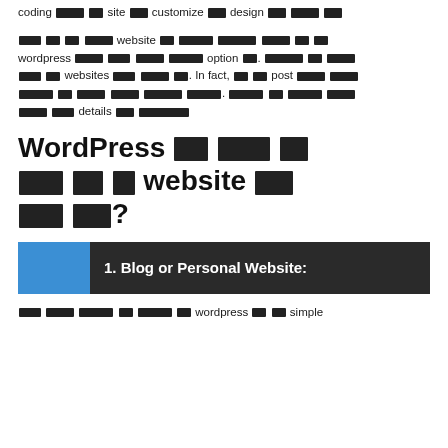coding [redacted] site [redacted] customize [redacted] design [redacted]
[redacted] website [redacted] [redacted] wordpress [redacted] option [redacted]. [redacted] websites [redacted]. In fact, [redacted] post [redacted] [redacted] details [redacted]
WordPress [redacted] [redacted] [redacted] website [redacted] [redacted]?
1. Blog or Personal Website:
[redacted] wordpress [redacted] simple